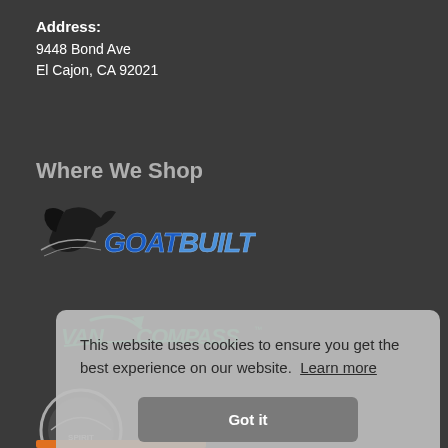Address:
9448 Bond Ave
El Cajon, CA 92021
Where We Shop
[Figure (logo): GoatBuilt logo with goat head graphic and stylized text 'GoatBuilt' in blue metallic letters]
[Figure (logo): VanCompass logo with green circular arrow and green italic text 'VanCompass']
[Figure (logo): Circular jeep/off-road brand logo, partially visible]
This website uses cookies to ensure you get the best experience on our website. Learn more
Got it